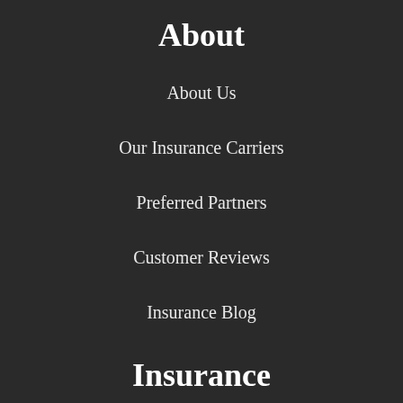About
About Us
Our Insurance Carriers
Preferred Partners
Customer Reviews
Insurance Blog
Insurance